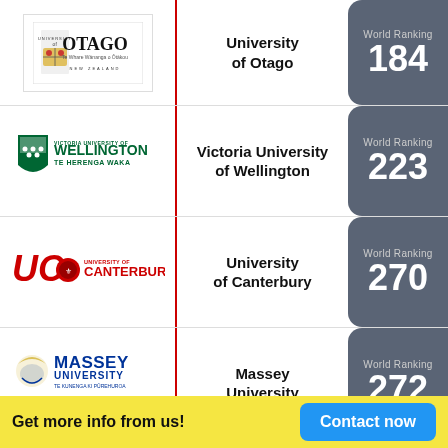[Figure (infographic): University of Otago logo with crest, showing 'University of Otago' text and New Zealand subtitle]
University of Otago
[Figure (infographic): World Ranking badge: 184]
[Figure (infographic): Victoria University of Wellington Te Herenga Waka logo with shield]
Victoria University of Wellington
[Figure (infographic): World Ranking badge: 223]
[Figure (infographic): UC University of Canterbury logo in red]
University of Canterbury
[Figure (infographic): World Ranking badge: 270]
[Figure (infographic): Massey University logo with crest - University of New Zealand]
Massey University
[Figure (infographic): World Ranking badge: 272]
Get more info from us!
Contact now